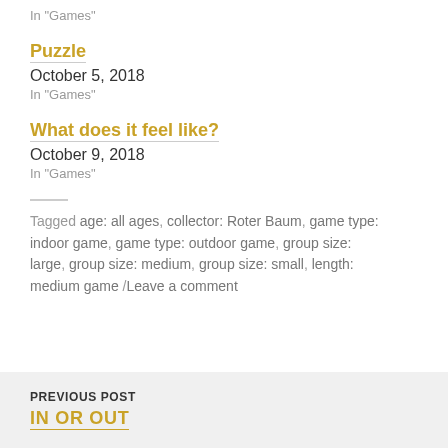In "Games"
Puzzle
October 5, 2018
In "Games"
What does it feel like?
October 9, 2018
In "Games"
Tagged age: all ages, collector: Roter Baum, game type: indoor game, game type: outdoor game, group size: large, group size: medium, group size: small, length: medium game / Leave a comment
PREVIOUS POST
IN OR OUT